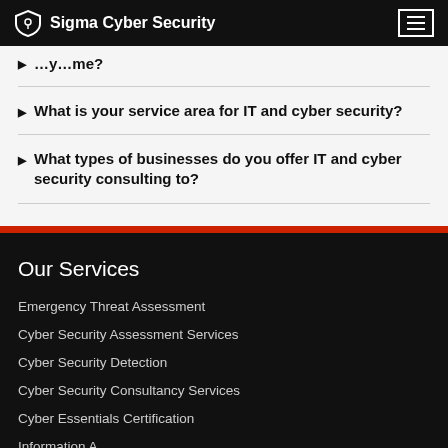Sigma Cyber Security
▶  What is your service area for IT and cyber security?
▶  What types of businesses do you offer IT and cyber security consulting to?
Our Services
Emergency Threat Assessment
Cyber Security Assessment Services
Cyber Security Detection
Cyber Security Consultancy Services
Cyber Essentials Certification